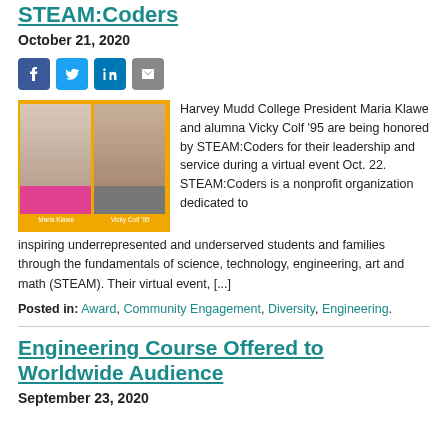STEAM:Coders
October 21, 2020
[Figure (photo): Social media sharing icons: Facebook, Twitter, LinkedIn, Email]
[Figure (photo): Two people with yellow background: Maria Klawe and Vicky Colf '95]
Harvey Mudd College President Maria Klawe and alumna Vicky Colf '95 are being honored by STEAM:Coders for their leadership and service during a virtual event Oct. 22. STEAM:Coders is a nonprofit organization dedicated to inspiring underrepresented and underserved students and families through the fundamentals of science, technology, engineering, art and math (STEAM). Their virtual event, [...]
Posted in: Award, Community Engagement, Diversity, Engineering.
Engineering Course Offered to Worldwide Audience
September 23, 2020